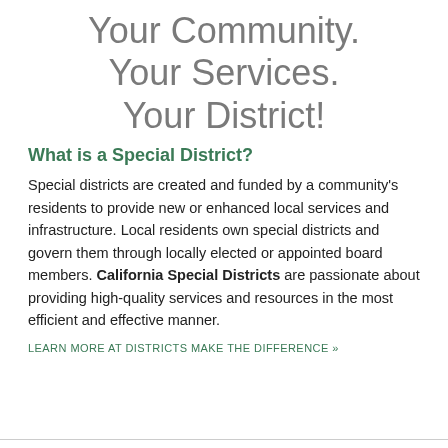Your Community.
Your Services.
Your District!
What is a Special District?
Special districts are created and funded by a community's residents to provide new or enhanced local services and infrastructure. Local residents own special districts and govern them through locally elected or appointed board members. California Special Districts are passionate about providing high-quality services and resources in the most efficient and effective manner.
LEARN MORE AT DISTRICTS MAKE THE DIFFERENCE »